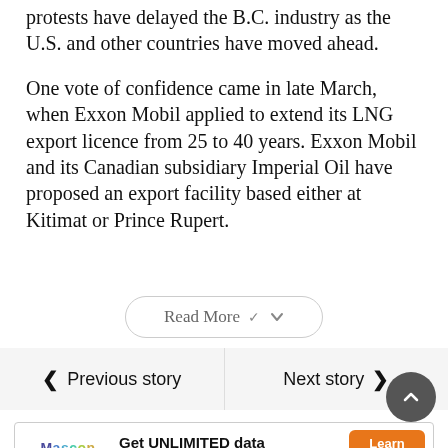protests have delayed the B.C. industry as the U.S. and other countries have moved ahead.
One vote of confidence came in late March, when Exxon Mobil applied to extend its LNG export licence from 25 to 40 years. Exxon Mobil and its Canadian subsidiary Imperial Oil have proposed an export facility based either at Kitimat or Prince Rupert.
Read More
Previous story
Next story
[Figure (other): Advertisement banner: Mascon by TELUS logo on left, text 'Get UNLIMITED data and save up to $410!*' in center, orange 'Learn More' button on right.]